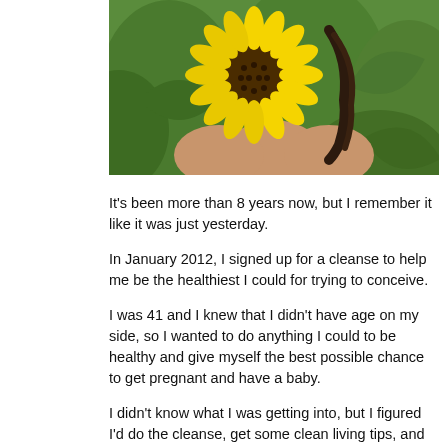[Figure (photo): A woman with dark braided hair standing in a sunflower field, a large yellow sunflower in front of her face, with green foliage in the background.]
It's been more than 8 years now, but I remember it like it was just yesterday.
In January 2012, I signed up for a cleanse to help me be the healthiest I could for trying to conceive.
I was 41 and I knew that I didn't have age on my side, so I wanted to do anything I could to be healthy and give myself the best possible chance to get pregnant and have a baby.
I didn't know what I was getting into, but I figured I'd do the cleanse, get some clean living tips, and be on my way.
What I wasn't expecting was that I'd undergo such a